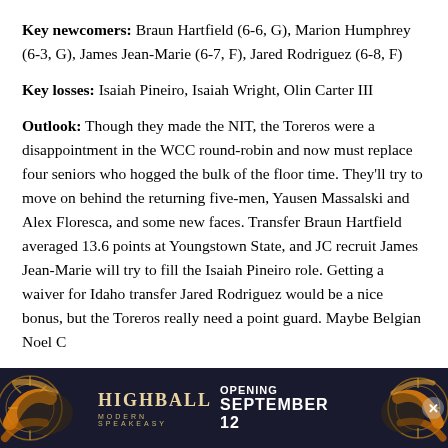Key newcomers: Braun Hartfield (6-6, G), Marion Humphrey (6-3, G), James Jean-Marie (6-7, F), Jared Rodriguez (6-8, F)
Key losses: Isaiah Pineiro, Isaiah Wright, Olin Carter III
Outlook: Though they made the NIT, the Toreros were a disappointment in the WCC round-robin and now must replace four seniors who hogged the bulk of the floor time. They'll try to move on behind the returning five-men, Yausen Massalski and Alex Floresca, and some new faces. Transfer Braun Hartfield averaged 13.6 points at Youngstown State, and JC recruit James Jean-Marie will try to fill the Isaiah Pineiro role. Getting a waiver for Idaho transfer Jared Rodriguez would be a nice bonus, but the Toreros really need a point guard. Maybe Belgian Noel C...
[Figure (other): Advertisement banner for Highball Modern Speakeasy, opening September 12. Dark background with decorative golden circular elements on left and right sides.]